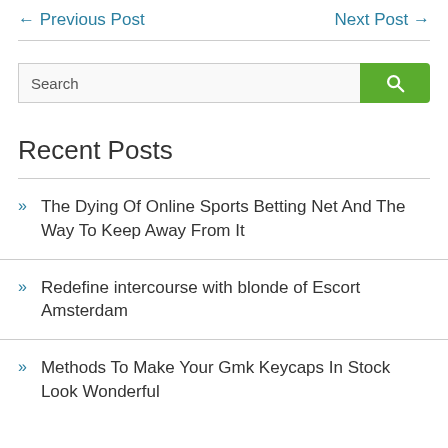← Previous Post    Next Post →
[Figure (other): Search box with text input and green search button]
Recent Posts
The Dying Of Online Sports Betting Net And The Way To Keep Away From It
Redefine intercourse with blonde of Escort Amsterdam
Methods To Make Your Gmk Keycaps In Stock Look Wonderful